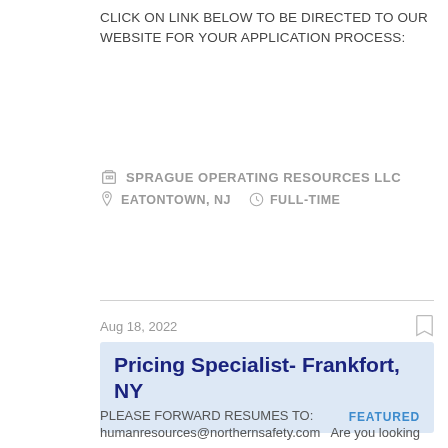CLICK ON LINK BELOW TO BE DIRECTED TO OUR WEBSITE FOR YOUR APPLICATION PROCESS:
SPRAGUE OPERATING RESOURCES LLC
EATONTOWN, NJ   FULL-TIME
Aug 18, 2022
Pricing Specialist- Frankfort, NY
FEATURED
PLEASE FORWARD RESUMES TO:
humanresources@northernsafety.com   Are you looking
NORTHERN SAFETY & INDUSTRIAL
FRANKFORT, NY   FULL-TIME